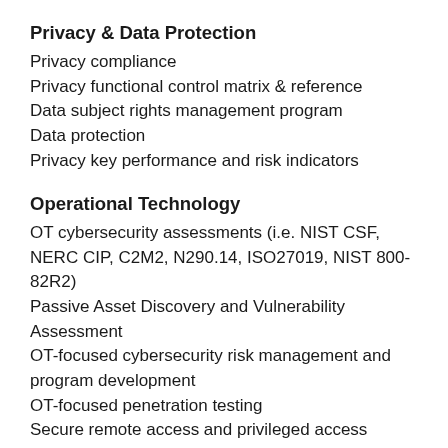Privacy & Data Protection
Privacy compliance
Privacy functional control matrix & reference
Data subject rights management program
Data protection
Privacy key performance and risk indicators
Operational Technology
OT cybersecurity assessments (i.e. NIST CSF, NERC CIP, C2M2, N290.14, ISO27019, NIST 800-82R2)
Passive Asset Discovery and Vulnerability Assessment
OT-focused cybersecurity risk management and program development
OT-focused penetration testing
Secure remote access and privileged access management
Network architecture and segmentation design
Passive network monitoring deployment – partner with